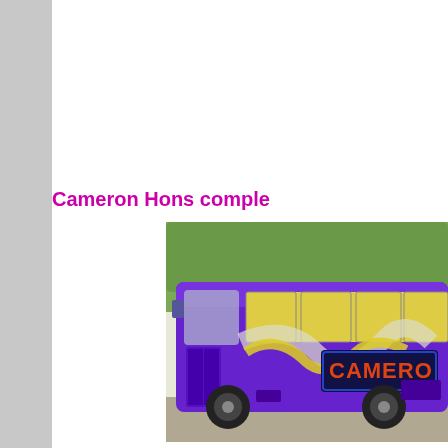Cameron Hons comple
[Figure (photo): A purple coach/bus with yellow and white wave graphics on its side, with 'CAMERO' (Cameron) written in red/orange illuminated lettering on a dark panel. The bus has yellow curtains visible through windows. Photographed outdoors with trees in background.]